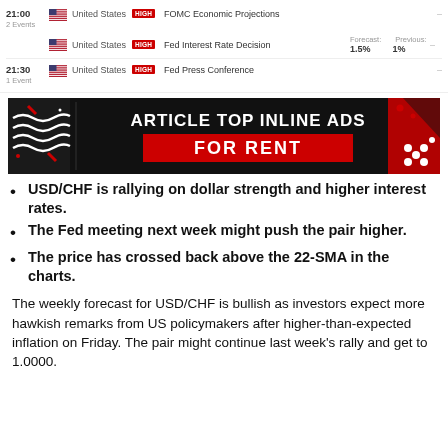| Time | Country | Impact | Event | Forecast | Previous |
| --- | --- | --- | --- | --- | --- |
| 21:00 2 Events | United States | HIGH | FOMC Economic Projections |  | – |
|  | United States | HIGH | Fed Interest Rate Decision | 1.5% | 1% |
| 21:30 1 Event | United States | HIGH | Fed Press Conference |  | – |
[Figure (infographic): Advertisement banner: black background with red and white geometric shapes. Text reads 'ARTICLE TOP INLINE ADS' in white and 'FOR RENT' in white on red rectangle.]
USD/CHF is rallying on dollar strength and higher interest rates.
The Fed meeting next week might push the pair higher.
The price has crossed back above the 22-SMA in the charts.
The weekly forecast for USD/CHF is bullish as investors expect more hawkish remarks from US policymakers after higher-than-expected inflation on Friday. The pair might continue last week's rally and get to 1.0000.